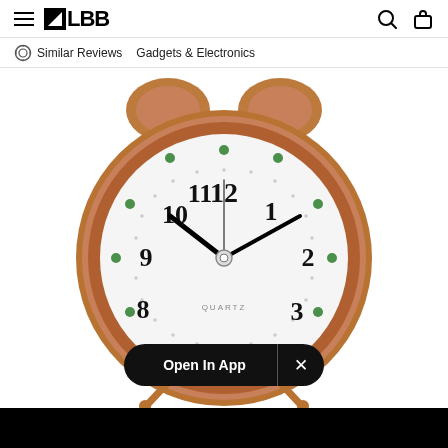≡ LBB [search] [bag]
Similar Reviews   Gadgets & Electronics
[Figure (photo): A copper/rose-gold vintage twin-bell alarm clock with a white clock face showing numbers 1-12 and green dot hour markers, hands showing approximately 10:10, and 'QUARTZ' text at the bottom of the face. An 'Open In App' pill-shaped button overlays the lower portion of the image.]
Open In App  ×